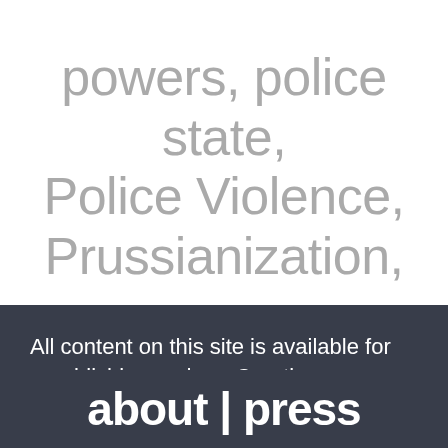powers, police state, Police Violence, Prussianization,
All content on this site is available for republishing under a Creative Commons Public Domain Dedication.
about | press